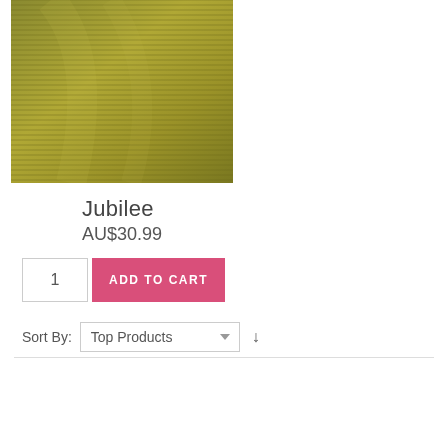[Figure (photo): Close-up photo of olive/yellow-green ribbed fabric texture for a product called Jubilee]
Jubilee
AU$30.99
1  ADD TO CART
Sort By:  Top Products  ↓